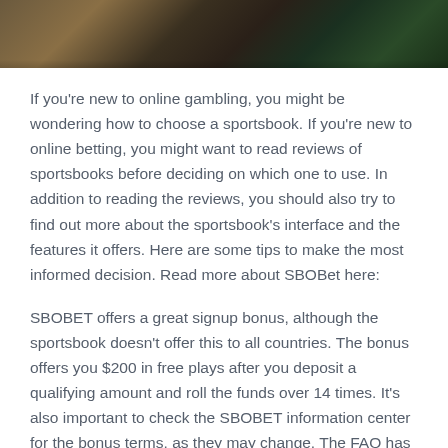[Figure (photo): A dimly lit casino or gambling venue interior with warm amber/orange lighting and green accent lighting visible in the background, showing a wooden floor.]
If you're new to online gambling, you might be wondering how to choose a sportsbook. If you're new to online betting, you might want to read reviews of sportsbooks before deciding on which one to use. In addition to reading the reviews, you should also try to find out more about the sportsbook's interface and the features it offers. Here are some tips to make the most informed decision. Read more about SBOBet here:
SBOBET offers a great signup bonus, although the sportsbook doesn't offer this to all countries. The bonus offers you $200 in free plays after you deposit a qualifying amount and roll the funds over 14 times. It's also important to check the SBOBET information center for the bonus terms, as they may change. The FAQ has contact details, technical requirements, and bonus terms. The sportsbook's support staff is available